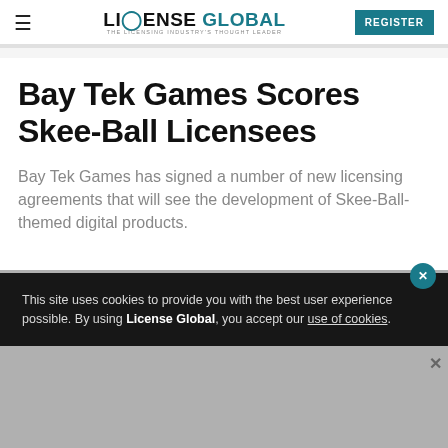LICENSE GLOBAL — THE LICENSING INDUSTRY'S THOUGHT LEADER — REGISTER
Bay Tek Games Scores Skee-Ball Licensees
Bay Tek Games has signed a number of new licensing agreements that will see the development of Skee-Ball-themed digital products.
This site uses cookies to provide you with the best user experience possible. By using License Global, you accept our use of cookies.
[Figure (other): Advertisement banner: VISIT US AT BOOTH B161 with emoji brand logo, colorful background with smiley characters]